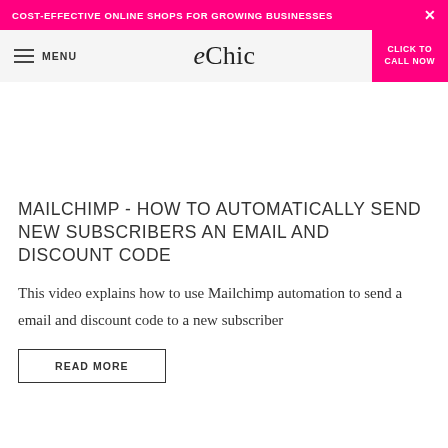COST-EFFECTIVE ONLINE SHOPS FOR GROWING BUSINESSES
eChic — MENU | CLICK TO CALL NOW
MAILCHIMP - HOW TO AUTOMATICALLY SEND NEW SUBSCRIBERS AN EMAIL AND DISCOUNT CODE
This video explains how to use Mailchimp automation to send a email and discount code to a new subscriber
READ MORE